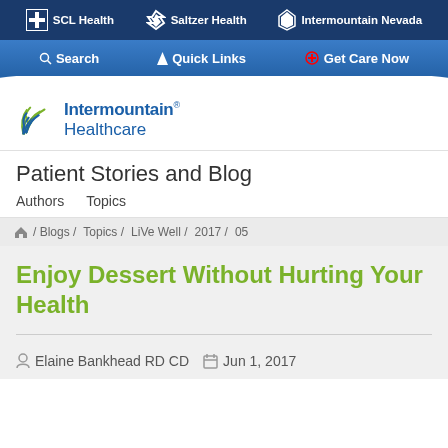SCL Health | Saltzer Health | Intermountain Nevada
Search | Quick Links | Get Care Now
[Figure (logo): Intermountain Healthcare logo with leaf/plant icon and blue text]
Patient Stories and Blog
Authors   Topics
/ Blogs / Topics / LiVe Well / 2017 / 05
Enjoy Dessert Without Hurting Your Health
Elaine Bankhead RD CD   Jun 1, 2017